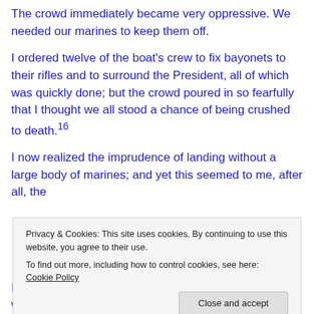The crowd immediately became very oppressive. We needed our marines to keep them off.
I ordered twelve of the boat's crew to fix bayonets to their rifles and to surround the President, all of which was quickly done; but the crowd poured in so fearfully that I thought we all stood a chance of being crushed to death.16
I now realized the imprudence of landing without a large body of marines; and yet this seemed to me, after all, the
Privacy & Cookies: This site uses cookies. By continuing to use this website, you agree to their use. To find out more, including how to control cookies, see here: Cookie Policy
I don't think I ever looked upon a scene where there were